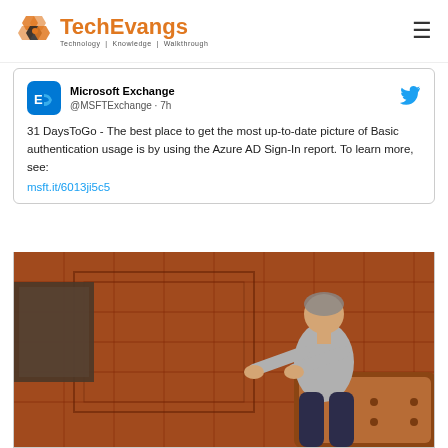TechEvangs - Technology | Knowledge | Walkthrough
[Figure (screenshot): Embedded tweet from Microsoft Exchange (@MSFTExchange · 7h) saying: '31 DaysToGo - The best place to get the most up-to-date picture of Basic authentication usage is by using the Azure AD Sign-In report. To learn more, see: msft.it/6013ji5c5', with a photo of a man sitting on a leather couch on a patterned rug.]